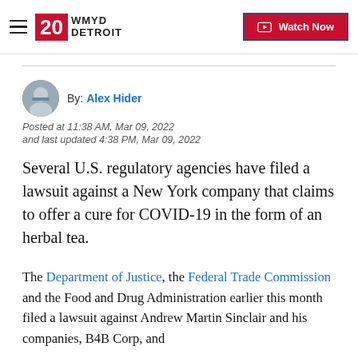20 WMYD Detroit
By: Alex Hider
Posted at 11:38 AM, Mar 09, 2022
and last updated 4:38 PM, Mar 09, 2022
Several U.S. regulatory agencies have filed a lawsuit against a New York company that claims to offer a cure for COVID-19 in the form of an herbal tea.
The Department of Justice, the Federal Trade Commission and the Food and Drug Administration earlier this month filed a lawsuit against Andrew Martin Sinclair and his companies, B4B Corp, and